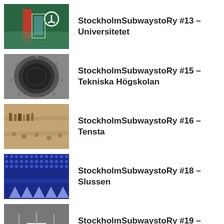StockholmSubwaystoRy #13 – Universitetet
StockholmSubwaystoRy #15 – Tekniska Högskolan
StockholmSubwaystoRy #16 – Tensta
StockholmSubwaystoRy #18 – Slussen
StockholmSubwaystoRy #19 – Bergshamra
StockholmSubwaystoRy #20 –